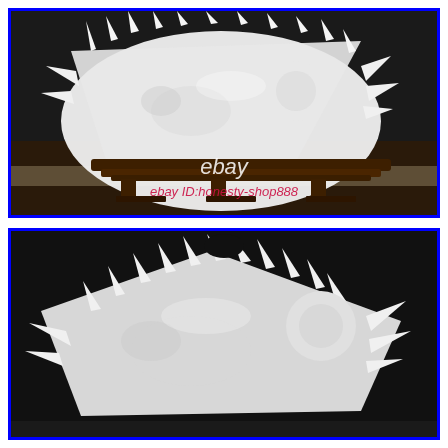[Figure (photo): White carved sculpture (appears to be ivory or resin) of a dragon or mythical creature on a dark wooden stand, against a dark background. Watermark text reads 'ebay' and 'ebay ID:honesty-shop888' in the lower portion of the image.]
[Figure (photo): Close-up view of the same white carved sculpture showing more detail of the spiky texture and form of the dragon or mythical creature, against a dark background. Blue border surrounds both images.]